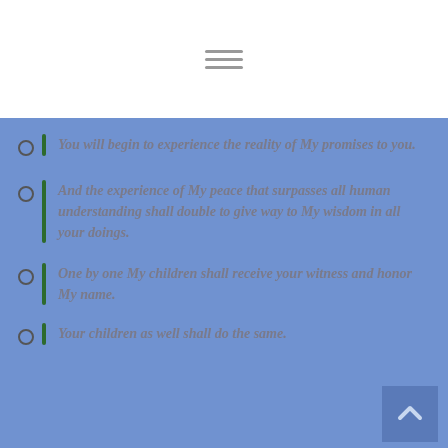You will begin to experience the reality of My promises to you.
And the experience of My peace that surpasses all human understanding shall double to give way to My wisdom in all your doings.
One by one My children shall receive your witness and honor My name.
Your children as well shall do the same.